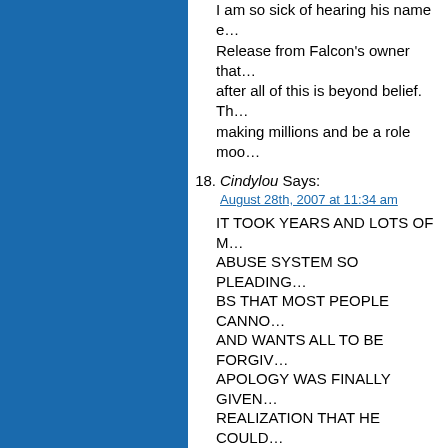I am so sick of hearing his name e… Release from Falcon's owner that… after all of this is beyond belief. Th… making millions and be a role moo…
18. Cindylou Says:
August 28th, 2007 at 11:34 am

IT TOOK YEARS AND LOTS OF M… ABUSE SYSTEM SO PLEADING… BS THAT MOST PEOPLE CANNO… AND WANTS ALL TO BE FORGIV… APOLOGY WAS FINALLY GIVEN… REALIZATION THAT HE COULD…
19. Desert Says:
August 28th, 2007 at 12:17 pm

I believe he's sorry…whether it's b… involved in dog fighting, who can s…
20. hmm Says:
August 28th, 2007 at 6:38 pm

We need much stronger laws to s… leads to much much worse and it…
21. Isabel Says:
August 28th, 2007 at 11:34 pm